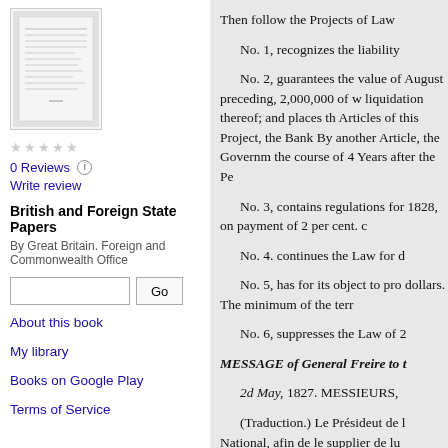[Figure (illustration): Thumbnail image of book cover for British and Foreign State Papers]
0 Reviews
Write review
British and Foreign State Papers
By Great Britain. Foreign and Commonwealth Office
About this book
My library
Books on Google Play
Terms of Service
Then follow the Projects of Law
No. 1, recognizes the liability
No. 2, guarantees the value of August preceding, 2,000,000 of w liquidation thereof; and places th Articles of this Project, the Bank By another Article, the Governm the course of 4 Years after the Pe
No. 3, contains regulations for 1828, on payment of 2 per cent. c
No. 4. continues the Law for d
No. 5, has for its object to pro dollars. The minimum of the terr
No. 6, suppresses the Law of 2
MESSAGE of General Freire to t
2d May, 1827. MESSIEURS,
(Traduction.) Le Présideut de l National, afin de le supplier de lu